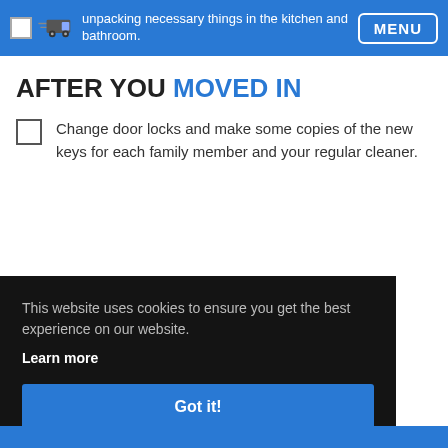unpacking necessary things in the kitchen and bathroom.
AFTER YOU MOVED IN
Change door locks and make some copies of the new keys for each family member and your regular cleaner.
This website uses cookies to ensure you get the best experience on our website.
Learn more
Got it!